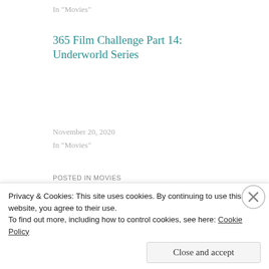In "Movies"
365 Film Challenge Part 14: Underworld Series
November 20, 2020
In "Movies"
POSTED IN MOVIES
365 FILM CHALLENGE
365 FILM CHALLENGE 20-21
AN AMERICAN WEREWOLF IN LONDON
AN AMERICAN WEREWOLF IN PARIS
FILMS
HIGH MOON
HORROR
HORROR FILMS
HOWL
MOVIES
Privacy & Cookies: This site uses cookies. By continuing to use this website, you agree to their use.
To find out more, including how to control cookies, see here: Cookie Policy
Close and accept